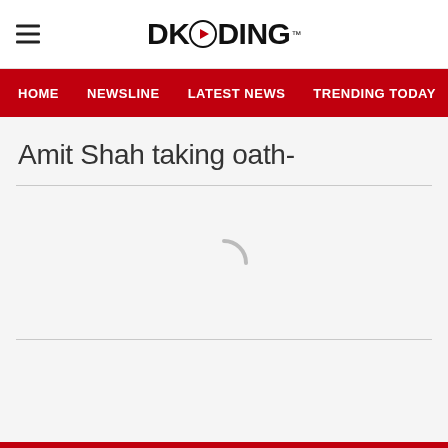DKODING
HOME  NEWSLINE  LATEST NEWS  TRENDING TODAY  ENT
Amit Shah taking oath-
[Figure (other): Loading spinner (arc/circle loader) between two horizontal divider lines]